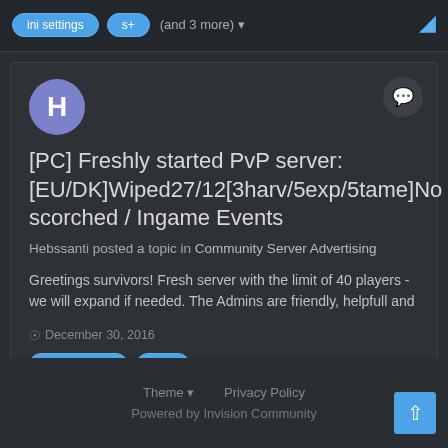ini settings   s+   (and 3 more)
[PC] Freshly started PvP server: [EU/DK]Wiped27/12[3harv/5exp/5tame]No scorched / Ingame Events
Hebssanti posted a topic in Community Server Advertising
Greetings survivors! Fresh server with the limit of 40 players - we will expand if needed. The Admins are friendly, helpfull and
December 30, 2016
Fresh Server   PVP   (and 5 more)
Theme   Privacy Policy
Powered by Invision Community